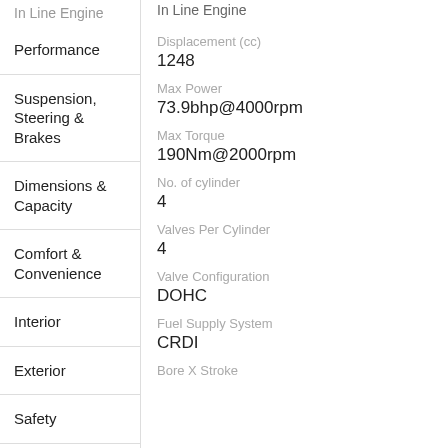In Line Engine
Performance
Suspension, Steering & Brakes
Dimensions & Capacity
Comfort & Convenience
Interior
Exterior
Safety
Entertainment &
Displacement (cc)
1248
Max Power
73.9bhp@4000rpm
Max Torque
190Nm@2000rpm
No. of cylinder
4
Valves Per Cylinder
4
Valve Configuration
DOHC
Fuel Supply System
CRDI
Bore X Stroke